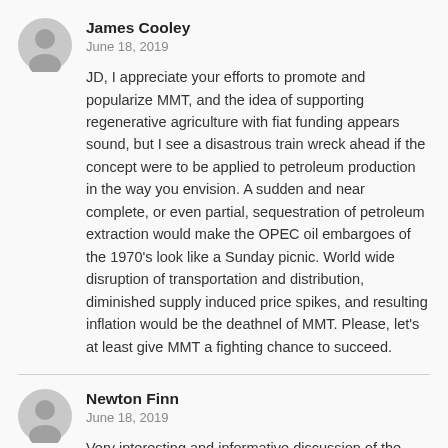[Figure (illustration): Gray avatar/profile icon for James Cooley]
James Cooley
June 18, 2019
JD, I appreciate your efforts to promote and popularize MMT, and the idea of supporting regenerative agriculture with fiat funding appears sound, but I see a disastrous train wreck ahead if the concept were to be applied to petroleum production in the way you envision. A sudden and near complete, or even partial, sequestration of petroleum extraction would make the OPEC oil embargoes of the 1970's look like a Sunday picnic. World wide disruption of transportation and distribution, diminished supply induced price spikes, and resulting inflation would be the deathnel of MMT. Please, let's at least give MMT a fighting chance to succeed.
[Figure (illustration): Gray avatar/profile icon for Newton Finn]
Newton Finn
June 18, 2019
Very interesting and informative discussion of the carbon issue and how it might be addressed through economic adjustments. However, as I've educated myself more broadly and deeply about climate change, I've come to doubt the standard carbon narrative. Charles Eisenstein, for example, in his “Climate: A New Story,” makes a compelling case that untold millions of